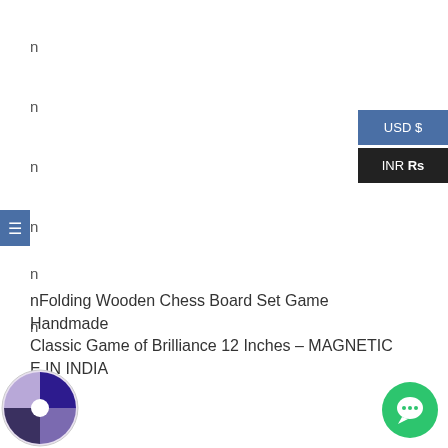n
n
n
n
n
n
n
USD $
INR Rs
[Figure (other): Hamburger menu icon button (blue background, white three-line icon)]
nFolding Wooden Chess Board Set Game Handmade Classic Game of Brilliance 12 Inches – MAGNETIC MADE IN INDIA
[Figure (logo): Circular logo with purple/indigo pie-chart style segments and white center dot]
[Figure (other): Green circular chat/messaging button with white speech bubble icon]